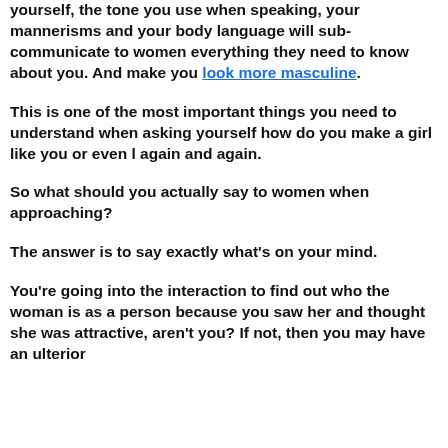yourself, the tone you use when speaking, your mannerisms and your body language will sub-communicate to women everything they need to know about you. And make you look more masculine.
This is one of the most important things you need to understand when asking yourself how do you make a girl like you or even l again and again.
So what should you actually say to women when approaching?
The answer is to say exactly what's on your mind.
You're going into the interaction to find out who the woman is as a person because you saw her and thought she was attractive, aren't you? If not, then you may have an ulterior